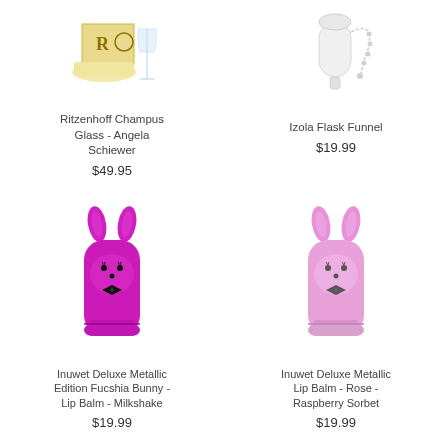[Figure (photo): Ritzenhoff Champus Glass with gold foil packaging, champagne glass visible]
Ritzenhoff Champus Glass - Angela Schiewer
$49.95
[Figure (photo): Izola Flask Funnel - white cylindrical funnel with ball chain]
Izola Flask Funnel
$19.99
[Figure (photo): Inuwet Deluxe Metallic Edition Fucshia Bunny Lip Balm Milkshake - pink/magenta bunny shaped lip balm]
Inuwet Deluxe Metallic Edition Fucshia Bunny - Lip Balm - Milkshake
$19.99
[Figure (photo): Inuwet Deluxe Metallic Lip Balm Rose Raspberry Sorbet - light pink bunny shaped lip balm]
Inuwet Deluxe Metallic Lip Balm - Rose - Raspberry Sorbet
$19.99